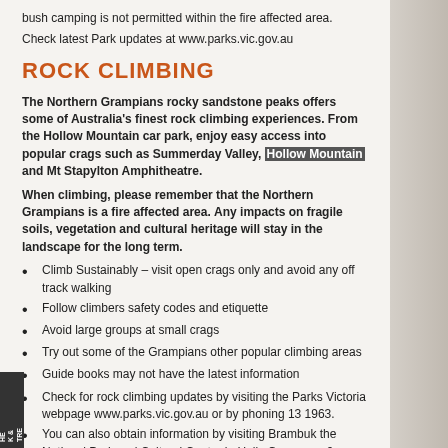bush camping is not permitted within the fire affected area.
Check latest Park updates at www.parks.vic.gov.au
ROCK CLIMBING
The Northern Grampians rocky sandstone peaks offers some of Australia's finest rock climbing experiences. From the Hollow Mountain car park, enjoy easy access into popular crags such as Summerday Valley, Hollow Mountain and Mt Stapylton Amphitheatre.
When climbing, please remember that the Northern Grampians is a fire affected area. Any impacts on fragile soils, vegetation and cultural heritage will stay in the landscape for the long term.
Climb Sustainably – visit open crags only and avoid any off track walking
Follow climbers safety codes and etiquette
Avoid large groups at small crags
Try out some of the Grampians other popular climbing areas
Guide books may not have the latest information
Check for rock climbing updates by visiting the Parks Victoria webpage www.parks.vic.gov.au or by phoning 13 1963.
You can also obtain information by visiting Brambuk the National Park and Cultural Centre in Halls Gap, open 9am – 5pm daily. Phone 5361 4000.
HE K & TRE